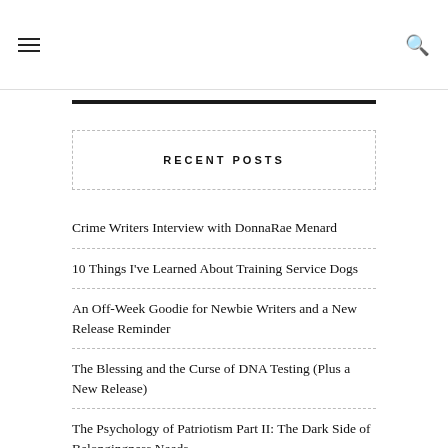[hamburger menu icon] [search icon]
RECENT POSTS
Crime Writers Interview with DonnaRae Menard
10 Things I've Learned About Training Service Dogs
An Off-Week Goodie for Newbie Writers and a New Release Reminder
The Blessing and the Curse of DNA Testing (Plus a New Release)
The Psychology of Patriotism Part II: The Dark Side of Belongingness Needs